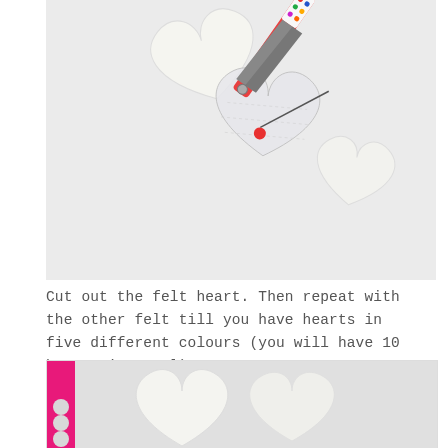[Figure (photo): Top-down view of two white felt heart shapes, a heart-shaped paper pattern with a pin stuck through it, and red-handled scissors with a colorful polka-dot pattern on the blades, arranged on a white surface.]
Cut out the felt heart. Then repeat with the other felt till you have hearts in five different colours (you will have 10 hearts in total)
[Figure (photo): Partial view showing a strip of bright pink/magenta felt with scalloped or bumpy edge on the left, and two white felt heart shapes on a light grey/white surface.]